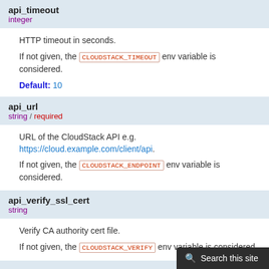api_timeout
integer
HTTP timeout in seconds.
If not given, the CLOUDSTACK_TIMEOUT env variable is considered.
Default: 10
api_url
string / required
URL of the CloudStack API e.g. https://cloud.example.com/client/api.
If not given, the CLOUDSTACK_ENDPOINT env variable is considered.
api_verify_ssl_cert
string
Verify CA authority cert file.
If not given, the CLOUDSTACK_VERIFY env variable is considered.